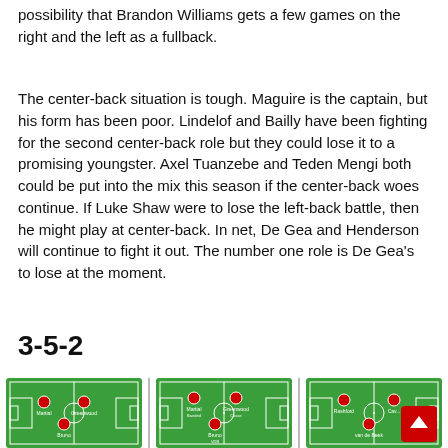possibility that Brandon Williams gets a few games on the right and the left as a fullback.
The center-back situation is tough. Maguire is the captain, but his form has been poor. Lindelof and Bailly have been fighting for the second center-back role but they could lose it to a promising youngster. Axel Tuanzebe and Teden Mengi both could be put into the mix this season if the center-back woes continue. If Luke Shaw were to lose the left-back battle, then he might play at center-back. In net, De Gea and Henderson will continue to fight it out. The number one role is De Gea's to lose at the moment.
3-5-2
[Figure (other): Soccer formation diagram showing 3-5-2 with Martial, Greenwood up front and Bruno below]
[Figure (other): Soccer formation diagram showing 3-5-2 with Martial, Greenwood, Bruno VDB]
[Figure (other): Soccer formation diagram showing 3-5-2 with Rashford, Cavani, van de Beek]